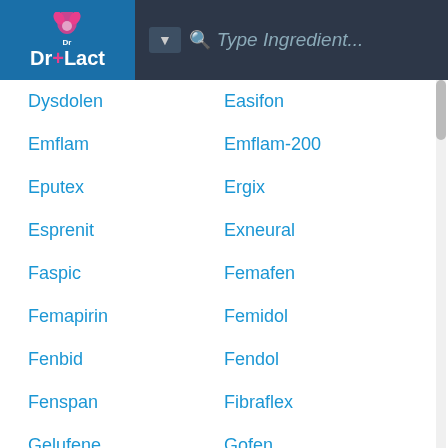Dr+Lact | Type Ingredient...
Dysdolen
Easifon
Emflam
Emflam-200
Eputex
Ergix
Esprenit
Exneural
Faspic
Femafen
Femapirin
Femidol
Fenbid
Fendol
Fenspan
Fibraflex
Gelufene
Gofen
Grefen
Gynofug
Hemagene Tailleur
IB-100
Ibol
Ibren
Ibu
Ibubest